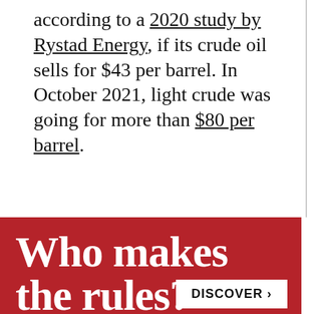according to a 2020 study by Rystad Energy, if its crude oil sells for $43 per barrel. In October 2021, light crude was going for more than $80 per barrel.
[Figure (infographic): Red advertisement banner with large white serif text reading 'Who makes the rules?' with subtext 'Explore the Public' and a white DISCOVER button on the right.]